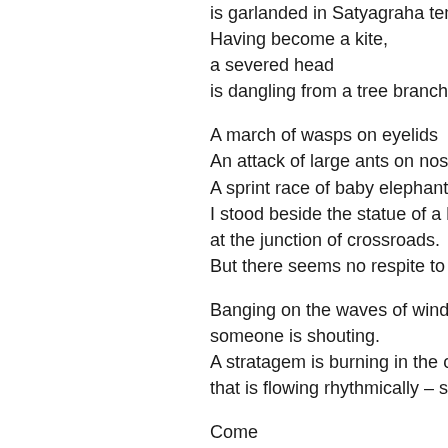is garlanded in Satyagraha tent.
Having become a kite,
a severed head
is dangling from a tree branch
A march of wasps on eyelids
An attack of large ants on nose
A sprint race of baby elephants on
I stood beside the statue of a lead
at the junction of crossroads.
But there seems no respite to the
Banging on the waves of wind
someone is shouting.
A stratagem is burning in the ocea
that is flowing rhythmically – says
Come
Walk a few steps with me